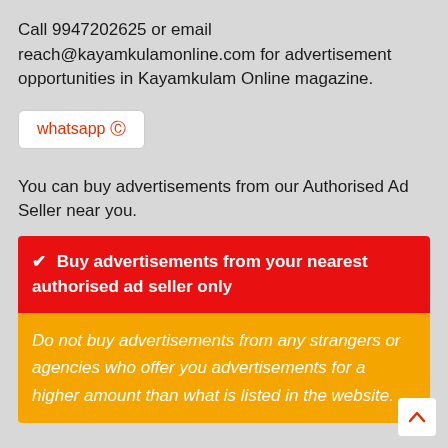Call 9947202625 or email reach@kayamkulamonline.com for advertisement opportunities in Kayamkulam Online magazine.
[Figure (other): WhatsApp button with orange phone icon and red text reading 'whatsapp' with a WhatsApp icon]
You can buy advertisements from our Authorised Ad Seller near you.
✔ Buy advertisements from your nearest authorised ad seller only
Do not buy advertisements from any strangers or agencies who offer you advertisements for a higher amount than what is listed in the website.